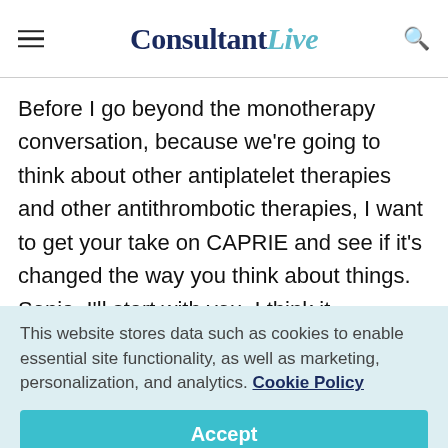ConsultantLive
Before I go beyond the monotherapy conversation, because we're going to think about other antiplatelet therapies and other antithrombotic therapies, I want to get your take on CAPRIE and see if it's changed the way you think about things. Sonia, I'll start with you. I think it...
This website stores data such as cookies to enable essential site functionality, as well as marketing, personalization, and analytics. Cookie Policy
Accept
Deny